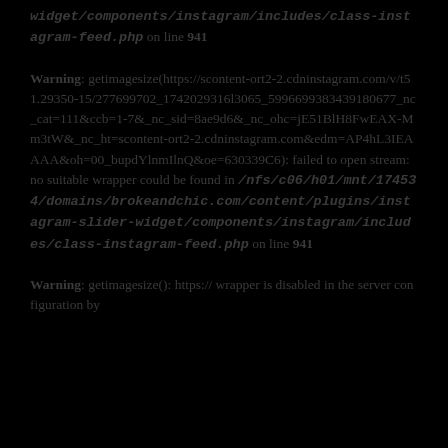widget/components/instagram/includes/class-instagram-feed.php on line 941
Warning: getimagesize(https://scontent-ort2-2.cdninstagram.com/v/t51.29350-15/277699702_1742029316l3065_5996699383439180677_nc_cat=111&ccb=1-7&_nc_sid=8ae9d6&_nc_ohc=jE51BlH8FwEAX-Mm3tW&_nc_ht=scontent-ort2-2.cdninstagram.com&edm=AP4hL3IEAAAA&oh=00_bupdYlnmIlnQ&oe=630339C6): failed to open stream: no suitable wrapper could be found in /nfs/c06/h01/mnt/174534/domains/brokeandchic.com/content/plugins/instagram-slider-widget/components/instagram/includes/class-instagram-feed.php on line 941
Warning: getimagesize(): https:// wrapper is disabled in the server configuration by